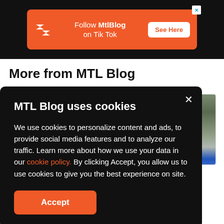[Figure (screenshot): Orange advertisement banner for MtlBlog TikTok with logo, text 'Follow MtlBlog on Tik Tok', and 'See Here' button, on black background]
More from MTL Blog
[Figure (screenshot): Background card area with nature photo on right side]
MTL Blog uses cookies
We use cookies to personalize content and ads, to provide social media features and to analyze our traffic. Learn more about how we use your data in our cookie policy. By clicking Accept, you allow us to use cookies to give you the best experience on site.
Accept